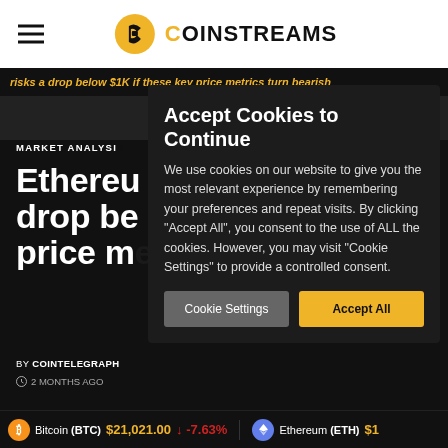COINSTREAMS
risks a drop below $1K if these key price metrics turn bearish
MARKET ANALYSIS
Ethereu... drop be... price m...
BY COINTELEGRAPH
2 MONTHS AGO
Accept Cookies to Continue
We use cookies on our website to give you the most relevant experience by remembering your preferences and repeat visits. By clicking "Accept All", you consent to the use of ALL the cookies. However, you may visit "Cookie Settings" to provide a controlled consent.
Cookie Settings | Accept All
Bitcoin (BTC) $21,021.00 ↓ -7.63%   Ethereum (ETH) $1...